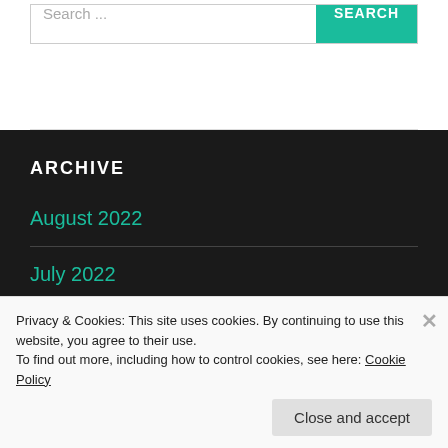Search ...
SEARCH
ARCHIVE
August 2022
July 2022
Privacy & Cookies: This site uses cookies. By continuing to use this website, you agree to their use.
To find out more, including how to control cookies, see here: Cookie Policy
Close and accept